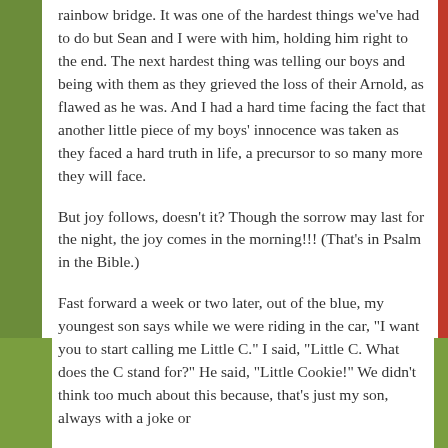rainbow bridge. It was one of the hardest things we've had to do but Sean and I were with him, holding him right to the end. The next hardest thing was telling our boys and being with them as they grieved the loss of their Arnold, as flawed as he was. And I had a hard time facing the fact that another little piece of my boys' innocence was taken as they faced a hard truth in life, a precursor to so many more they will face.
But joy follows, doesn't it? Though the sorrow may last for the night, the joy comes in the morning!!! (That's in Psalm in the Bible.)
Fast forward a week or two later, out of the blue, my youngest son says while we were riding in the car, "I want you to start calling me Little C." I said, "Little C. What does the C stand for?" He said, "Little Cookie!" We didn't think too much about this because, that's just my son, always with a joke or